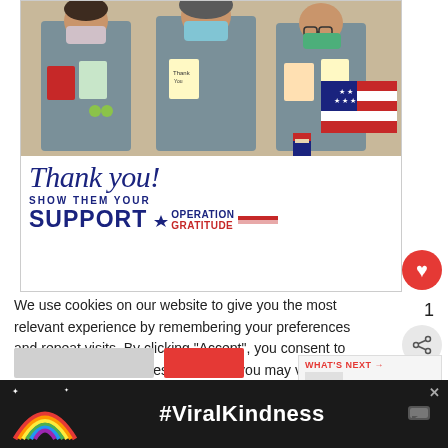[Figure (photo): Advertisement banner showing three medical workers in scrubs and masks holding thank-you cards, with 'Thank you! SHOW THEM YOUR SUPPORT' text and Operation Gratitude logo, plus pencil and American flag graphic. A red heart button with count '1' and share icon appear to the right.]
We use cookies on our website to give you the most relevant experience by remembering your preferences and repeat visits. By clicking "Accept", you consent to the use of all the cookies. However, you may visit "Cookie Settings" to provide a controlled consent.
[Figure (screenshot): Bottom advertisement bar with dark background showing a rainbow illustration on the left and '#ViralKindness' text in white, with a close X button and Whisper logo.]